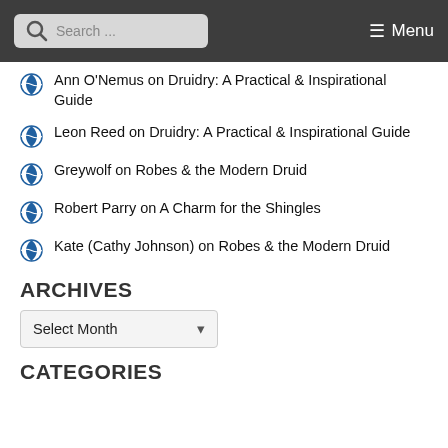Search ... ☰ Menu
Ann O'Nemus on Druidry: A Practical & Inspirational Guide
Leon Reed on Druidry: A Practical & Inspirational Guide
Greywolf on Robes & the Modern Druid
Robert Parry on A Charm for the Shingles
Kate (Cathy Johnson) on Robes & the Modern Druid
ARCHIVES
Select Month
CATEGORIES